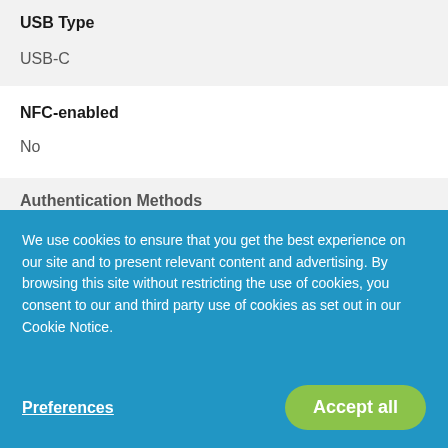USB Type
USB-C
NFC-enabled
No
Authentication Methods
We use cookies to ensure that you get the best experience on our site and to present relevant content and advertising. By browsing this site without restricting the use of cookies, you consent to our and third party use of cookies as set out in our Cookie Notice.
Preferences
Accept all